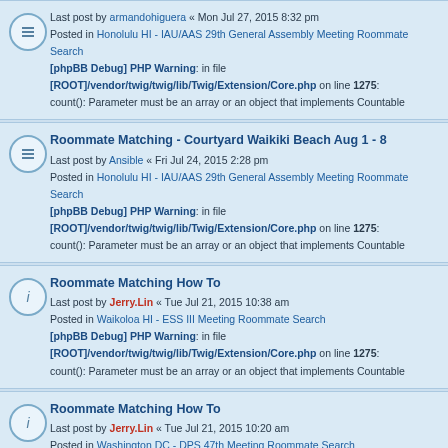Last post by armandohiguera « Mon Jul 27, 2015 8:32 pm
Posted in Honolulu HI - IAU/AAS 29th General Assembly Meeting Roommate Search
[phpBB Debug] PHP Warning: in file [ROOT]/vendor/twig/twig/lib/Twig/Extension/Core.php on line 1275: count(): Parameter must be an array or an object that implements Countable
Roommate Matching - Courtyard Waikiki Beach Aug 1 - 8
Last post by Ansible « Fri Jul 24, 2015 2:28 pm
Posted in Honolulu HI - IAU/AAS 29th General Assembly Meeting Roommate Search
[phpBB Debug] PHP Warning: in file [ROOT]/vendor/twig/twig/lib/Twig/Extension/Core.php on line 1275: count(): Parameter must be an array or an object that implements Countable
Roommate Matching How To
Last post by Jerry.Lin « Tue Jul 21, 2015 10:38 am
Posted in Waikoloa HI - ESS III Meeting Roommate Search
[phpBB Debug] PHP Warning: in file [ROOT]/vendor/twig/twig/lib/Twig/Extension/Core.php on line 1275: count(): Parameter must be an array or an object that implements Countable
Roommate Matching How To
Last post by Jerry.Lin « Tue Jul 21, 2015 10:20 am
Posted in Washington DC - DPS 47th Meeting Roommate Search
[phpBB Debug] PHP Warning: in file [ROOT]/vendor/twig/twig/lib/Twig/Extension/Core.php on line 1275: count(): Parameter must be an array or an object that implements Countable
Share Room IAU-GA
Last post by armandohiguera « Thu Jul 16, 2015 11:04 am
Posted in Honolulu HI - IAU/AAS 29th General Assembly Meeting Roommate